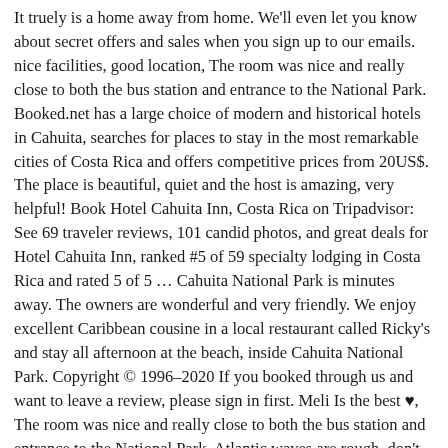It truely is a home away from home. We'll even let you know about secret offers and sales when you sign up to our emails. nice facilities, good location, The room was nice and really close to both the bus station and entrance to the National Park. Booked.net has a large choice of modern and historical hotels in Cahuita, searches for places to stay in the most remarkable cities of Costa Rica and offers competitive prices from 20US$. The place is beautiful, quiet and the host is amazing, very helpful! Book Hotel Cahuita Inn, Costa Rica on Tripadvisor: See 69 traveler reviews, 101 candid photos, and great deals for Hotel Cahuita Inn, ranked #5 of 59 specialty lodging in Costa Rica and rated 5 of 5 … Cahuita National Park is minutes away. The owners are wonderful and very friendly. We enjoy excellent Caribbean cousine in a local restaurant called Ricky's and stay all afternoon at the beach, inside Cahuita National Park. Copyright © 1996–2020 If you booked through us and want to leave a review, please sign in first. Meli Is the best ♥, The room was nice and really close to both the bus station and entrance to the National Park. Atlantic waves are rough, don't expect a leisurely swim. The Kenaki Lodge Cahuita's built with tropical woods and have a Balinese style. See the full list: Hotels near Cahuita National Park . Free WiFi access is offered, along with a tour desk and shuttle services for a fee. Free WiFi access and free private parking are available in this lodge. Within easy reach of Cahuita National Park • Free parking • … They obviously put a lot of work into their business. Having A/C was